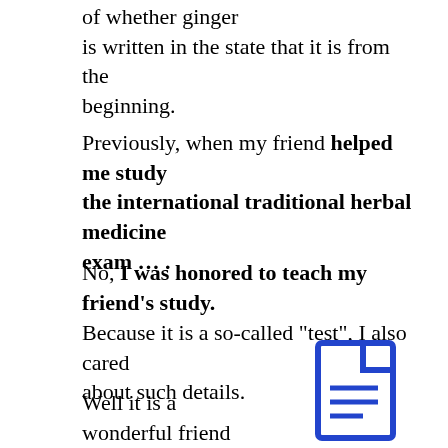of whether ginger is written in the state that it is from the beginning.
Previously, when my friend helped me study the international traditional herbal medicine exam … .
No, I was honored to teach my friend's study.
Because it is a so-called “test”, I also cared about such details.
Well it is a wonderful friend to me, so
[Figure (illustration): Blue document/file icon with lines representing text]